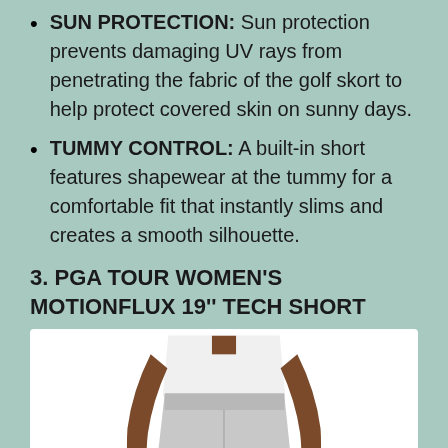SUN PROTECTION: Sun protection prevents damaging UV rays from penetrating the fabric of the golf skort to help protect covered skin on sunny days.
TUMMY CONTROL: A built-in short features shapewear at the tummy for a comfortable fit that instantly slims and creates a smooth silhouette.
3. PGA TOUR WOMEN'S MOTIONFLUX 19'' TECH SHORT
[Figure (photo): Woman wearing light gray PGA Tour Women's Motionflux 19-inch tech shorts, showing the lower torso and legs. The shorts are light silver/gray with a high waist and extend to mid-thigh.]